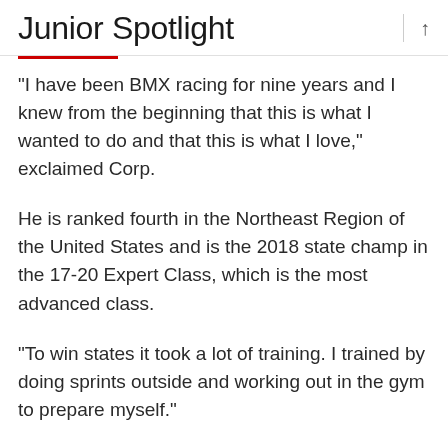Junior Spotlight
“I have been BMX racing for nine years and I knew from the beginning that this is what I wanted to do and that this is what I love,” exclaimed Corp.
He is ranked fourth in the Northeast Region of the United States and is the 2018 state champ in the 17-20 Expert Class, which is the most advanced class.
“To win states it took a lot of training. I trained by doing sprints outside and working out in the gym to prepare myself.”